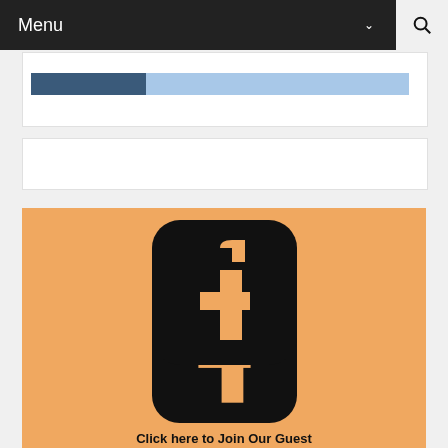Menu
[Figure (screenshot): Blue navigation bar strip partially visible]
[Figure (screenshot): White content area strip]
[Figure (illustration): Facebook logo icon on orange/tan background with text 'Click here to Join Our Guest' below]